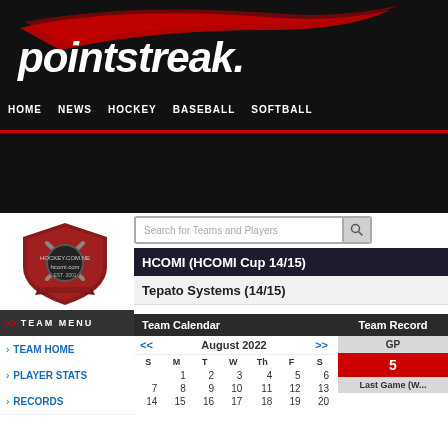[Figure (logo): Pointstreak logo with swoosh on dark background]
HOME  NEWS  HOCKEY  BASEBALL  SOFTBALL
HCOMI (HCOMI Cup 14/15)
Tepato Systems (14/15)
Team Calendar
| S | M | T | W | Th | F | S |
| --- | --- | --- | --- | --- | --- | --- |
|  | 1 | 2 | 3 | 4 | 5 | 6 |
| 7 | 8 | 9 | 10 | 11 | 12 | 13 |
| 14 | 15 | 16 | 17 | 18 | 19 | 20 |
Team Record
| GP |
| --- |
| 5 |
Last Game (W...
TEAM HOME
PLAYER STATS
RECORDS